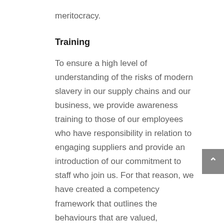meritocracy.
Training
To ensure a high level of understanding of the risks of modern slavery in our supply chains and our business, we provide awareness training to those of our employees who have responsibility in relation to engaging suppliers and provide an introduction of our commitment to staff who join us. For that reason, we have created a competency framework that outlines the behaviours that are valued, recognised and rewarded within our organisation. With Embedded Integrity being the first key attribute on our list, we are committed to qualities such as being ethical, honest, trustworthy and